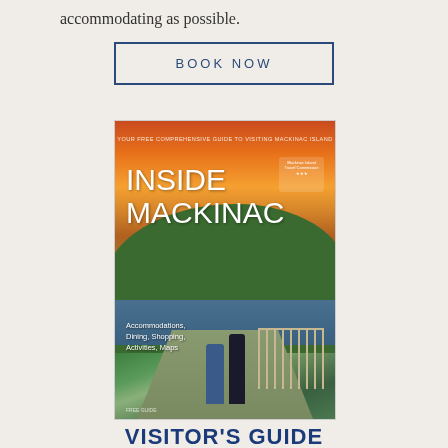accommodating as possible.
BOOK NOW
[Figure (photo): Cover of 'Inside Mackinac' visitor's guide booklet showing a couple walking on a path with a forested hillside and sunset sky in the background. Text reads: YOUR FREE COMPREHENSIVE GUIDE TO VISITING MACKINAC ISLAND, INSIDE MACKINAC, Accommodations, Dining, Shopping, Activities, Maps, and FREE GUIDE.]
VISITOR'S GUIDE
See all that the Island offers by viewing or